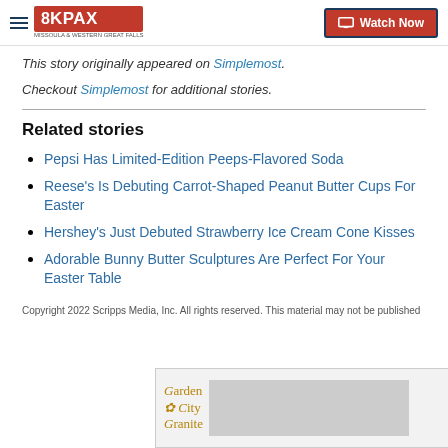8KPAX — Watch Now
This story originally appeared on Simplemost. Checkout Simplemost for additional stories.
Related stories
Pepsi Has Limited-Edition Peeps-Flavored Soda
Reese's Is Debuting Carrot-Shaped Peanut Butter Cups For Easter
Hershey's Just Debuted Strawberry Ice Cream Cone Kisses
Adorable Bunny Butter Sculptures Are Perfect For Your Easter Table
Copyright 2022 Scripps Media, Inc. All rights reserved. This material may not be published…